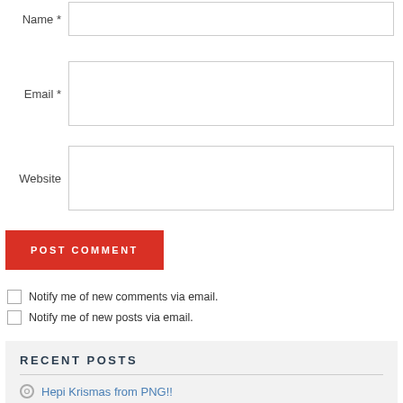Name *
Email *
Website
POST COMMENT
Notify me of new comments via email.
Notify me of new posts via email.
RECENT POSTS
Hepi Krismas from PNG!!